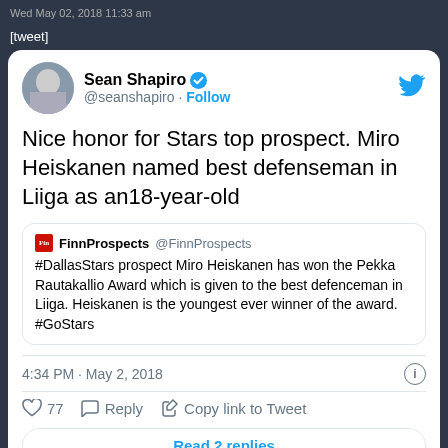Wed May 02, 2018 11:33 am
[tweet]
Sean Shapiro @seanshapiro · Follow
Nice honor for Stars top prospect. Miro Heiskanen named best defenseman in Liiga as an18-year-old
FinnProspects @FinnProspects
#DallasStars prospect Miro Heiskanen has won the Pekka Rautakallio Award which is given to the best defenceman in Liiga. Heiskanen is the youngest ever winner of the award. #GoStars
4:34 PM · May 2, 2018
77  Reply  Copy link to Tweet
Read 2 replies